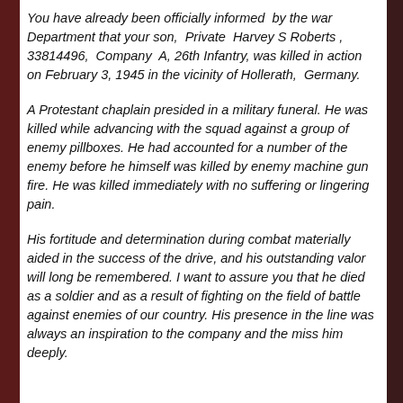You have already been officially informed by the war Department that your son, Private Harvey S Roberts , 33814496, Company A, 26th Infantry, was killed in action on February 3, 1945 in the vicinity of Hollerath, Germany.
A Protestant chaplain presided in a military funeral. He was killed while advancing with the squad against a group of enemy pillboxes. He had accounted for a number of the enemy before he himself was killed by enemy machine gun fire. He was killed immediately with no suffering or lingering pain.
His fortitude and determination during combat materially aided in the success of the drive, and his outstanding valor will long be remembered. I want to assure you that he died as a soldier and as a result of fighting on the field of battle against enemies of our country. His presence in the line was always an inspiration to the company and the miss him deeply.